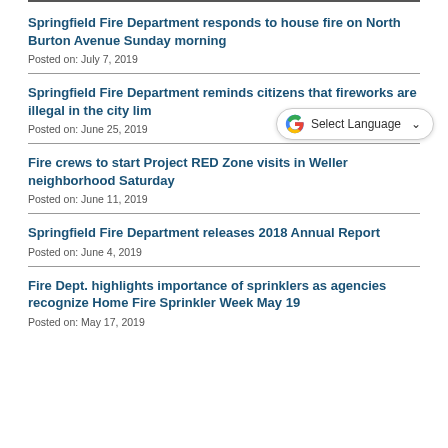Springfield Fire Department responds to house fire on North Burton Avenue Sunday morning
Posted on: July 7, 2019
Springfield Fire Department reminds citizens that fireworks are illegal in the city lim...
Posted on: June 25, 2019
Fire crews to start Project RED Zone visits in Weller neighborhood Saturday
Posted on: June 11, 2019
Springfield Fire Department releases 2018 Annual Report
Posted on: June 4, 2019
Fire Dept. highlights importance of sprinklers as agencies recognize Home Fire Sprinkler Week May 19
Posted on: May 17, 2019
[Figure (screenshot): Google Translate widget overlay showing 'Select Language' dropdown with Google G logo]